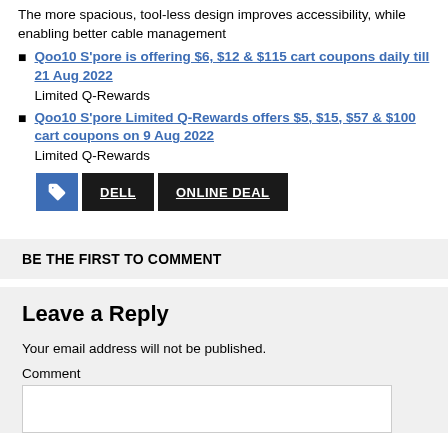The more spacious, tool-less design improves accessibility, while enabling better cable management
Qoo10 S'pore is offering $6, $12 & $115 cart coupons daily till 21 Aug 2022
Limited Q-Rewards
Qoo10 S'pore Limited Q-Rewards offers $5, $15, $57 & $100 cart coupons on 9 Aug 2022
Limited Q-Rewards
[tag icon] DELL  ONLINE DEAL
BE THE FIRST TO COMMENT
Leave a Reply
Your email address will not be published.
Comment